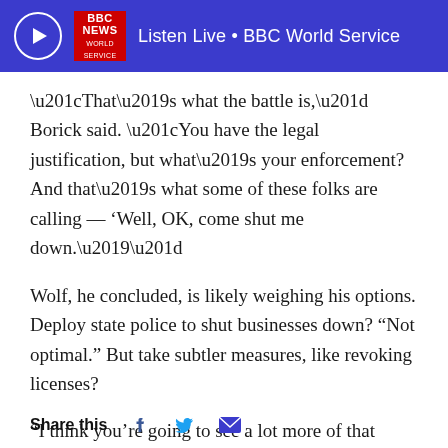Listen Live • BBC World Service
“That’s what the battle is,” Borick said. “You have the legal justification, but what’s your enforcement? And that’s what some of these folks are calling — ‘Well, OK, come shut me down.’”
Wolf, he concluded, is likely weighing his options. Deploy state police to shut businesses down? “Not optimal.” But take subtler measures, like revoking licenses?
“I think you’re going to see a lot more of that moving forward,” Borick said.
Share this